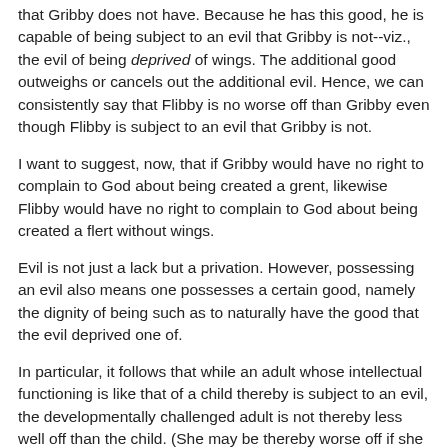that Gribby does not have. Because he has this good, he is capable of being subject to an evil that Gribby is not--viz., the evil of being deprived of wings. The additional good outweighs or cancels out the additional evil. Hence, we can consistently say that Flibby is no worse off than Gribby even though Flibby is subject to an evil that Gribby is not.
I want to suggest, now, that if Gribby would have no right to complain to God about being created a grent, likewise Flibby would have no right to complain to God about being created a flert without wings.
Evil is not just a lack but a privation. However, possessing an evil also means one possesses a certain good, namely the dignity of being such as to naturally have the good that the evil deprived one of.
In particular, it follows that while an adult whose intellectual functioning is like that of a child thereby is subject to an evil, the developmentally challenged adult is not thereby less well off than the child. (She may be thereby worse off if she compares herself to others, or if others treat her poorly.)